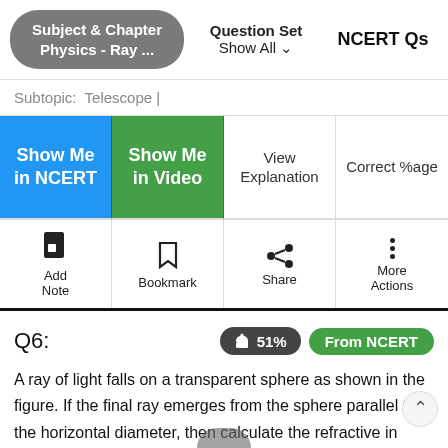Subject & Chapter
Physics - Ray ...
Question Set
Show All
NCERT Qs
Subtopic: Telescope |
[Figure (screenshot): Navigation button grid with 4 buttons: Show Me in NCERT (blue), Show Me in Video (green), View Explanation, Correct %age]
[Figure (screenshot): Action row with 4 buttons: Add Note, Bookmark, Share, More Actions]
Q6:
👍 51%
From NCERT
A ray of light falls on a transparent sphere as shown in the figure. If the final ray emerges from the sphere parallel to the horizontal diameter, then calculate the refractive in of the sphere. Consider that the sphere is kept in the air.